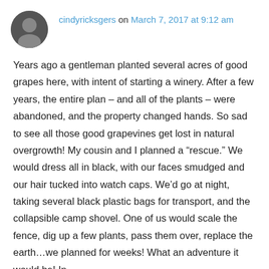cindyricksgers on March 7, 2017 at 9:12 am
Years ago a gentleman planted several acres of good grapes here, with intent of starting a winery. After a few years, the entire plan – and all of the plants – were abandoned, and the property changed hands. So sad to see all those good grapevines get lost in natural overgrowth! My cousin and I planned a “resue.” We would dress all in black, with our faces smudged and our hair tucked into watch caps. We’d go at night, taking several black plastic bags for transport, and the collapsible camp shovel. One of us would scale the fence, dig up a few plants, pass them over, replace the earth…we planned for weeks! What an adventure it would be! In